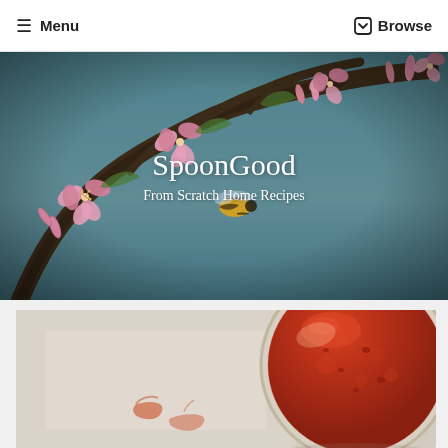Menu | Browse
[Figure (photo): Hero banner photo showing a bumblebee on pink cherry blossoms with branches against a blue sky background, with site name and tagline overlaid]
SpoonGood
From Scratch Home Recipes
[Figure (photo): Photo of a glass bowl containing red tomato sauce or jam, viewed from above on a light background with some drips or stains visible]